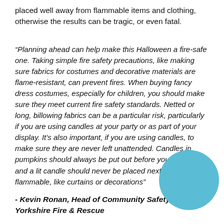placed well away from flammable items and clothing, otherwise the results can be tragic, or even fatal.
“Planning ahead can help make this Halloween a fire-safe one. Taking simple fire safety precautions, like making sure fabrics for costumes and decorative materials are flame-resistant, can prevent fires. When buying fancy dress costumes, especially for children, you should make sure they meet current fire safety standards. Netted or long, billowing fabrics can be a particular risk, particularly if you are using candles at your party or as part of your display. It’s also important, if you are using candles, to make sure they are never left unattended. Candles in pumpkins should always be put out before you go to bed, and a lit candle should never be placed next to anything flammable, like curtains or decorations”
- Kevin Ronan, Head of Community Safety, South Yorkshire Fire & Rescue